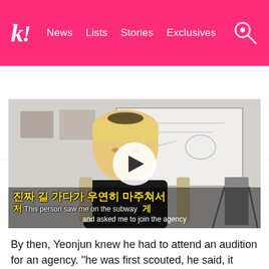k! News  Lists  Stories  Exclusives
BTS  BLACKPINK  Girls' Generation  TWICE  NCT  aespa
[Figure (screenshot): Video thumbnail showing a young man with blonde hair sitting in front of a whiteboard. A play button is overlaid in the center. Korean subtitles read: 진짜 길 가다가 우연히 마주쳐서 저 게. English translation subtitle reads: This person saw me on the subway and asked me to join the agency]
By then, Yeonjun knew he had to attend an audition for an agency. "he was first scouted, he said, it